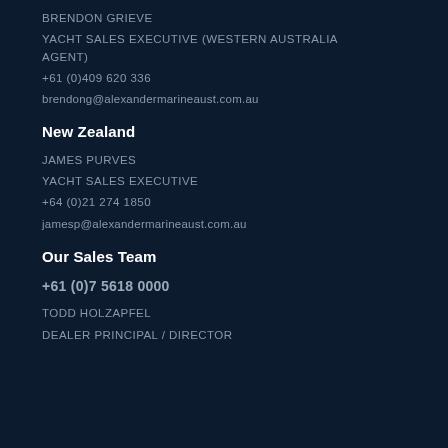BRENDON GRIEVE
YACHT SALES EXECUTIVE (WESTERN AUSTRALIA AGENT)
+61 (0)409 620 336
brendong@alexandermarineaust.com.au
New Zealand
JAMES PURVES
YACHT SALES EXECUTIVE
+64 (0)21 274 1850
jamesp@alexandermarineaust.com.au
Our Sales Team
+61 (0)7 5618 0000
TODD HOLZAPFEL
DEALER PRINCIPAL / DIRECTOR